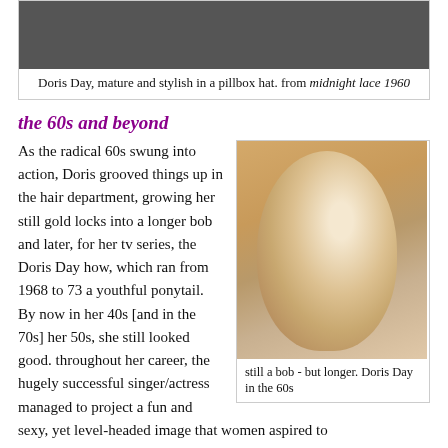[Figure (photo): Black and white photo of Doris Day wearing a pillbox hat, from the film Midnight Lace 1960]
Doris Day, mature and stylish in a pillbox hat. from midnight lace 1960
the 60s and beyond
As the radical 60s swung into action, Doris grooved things up in the hair department, growing her still gold locks into a longer bob and later, for her tv series, the Doris Day how, which ran from 1968 to 73 a youthful ponytail. By now in her 40s [and in the 70s] her 50s, she still looked good. throughout her career, the hugely successful singer/actress managed to project a fun and sexy, yet level-headed image that women aspired to
[Figure (photo): Color photo of Doris Day in the 60s with a longer bob hairstyle, smiling, wearing a light blue top]
still a bob - but longer. Doris Day in the 60s